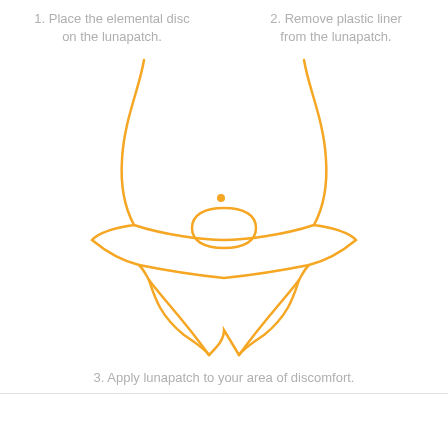1. Place the elemental disc on the lunapatch.
2. Remove plastic liner from the lunapatch.
[Figure (illustration): Line illustration of a female torso (lower body, front view) in orange/amber color, showing a lunapatch applied to the lower abdomen/pelvic area. The figure wears underwear, with a rounded patch shape visible on the lower abdomen.]
3. Apply lunapatch to your area of discomfort.